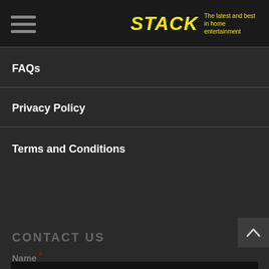STACK — The latest and best in home entertainment
FAQs
Privacy Policy
Terms and Conditions
CONTACT US
Name *